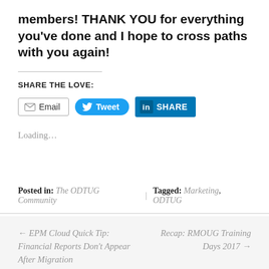members! THANK YOU for everything you've done and I hope to cross paths with you again!
SHARE THE LOVE:
[Figure (other): Social sharing buttons: Email, Tweet, LinkedIn Share]
Loading...
Posted in: The ODTUG Community | Tagged: Marketing, ODTUG
← EPM Cloud Quick Tip: Financial Reports Don't Appear After Migration
Recap: RMOUG Training Days 2017 →